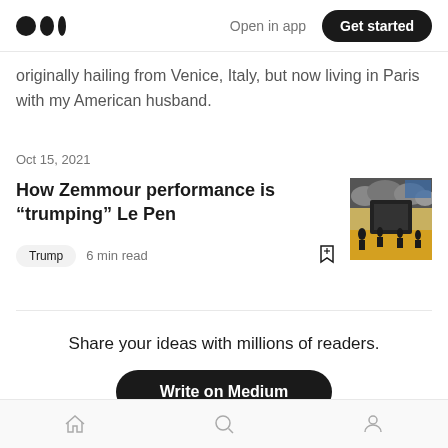Open in app | Get started
originally hailing from Venice, Italy, but now living in Paris with my American husband.
Oct 15, 2021
How Zemmour performance is “trumping” Le Pen
Trump  6 min read
[Figure (illustration): Thumbnail image for article about Zemmour]
Share your ideas with millions of readers.
Write on Medium
Home | Search | Profile